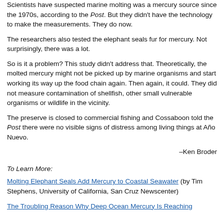Scientists have suspected marine molting was a mercury source since the 1970s, according to the Post. But they didn't have the technology to make the measurements. They do now.
The researchers also tested the elephant seals fur for mercury. Not surprisingly, there was a lot.
So is it a problem? This study didn't address that. Theoretically, the molted mercury might not be picked up by marine organisms and start working its way up the food chain again. Then again, it could. They did not measure contamination of shellfish, other small vulnerable organisms or wildlife in the vicinity.
The preserve is closed to commercial fishing and Cossaboon told the Post there were no visible signs of distress among living things at Año Nuevo.
–Ken Broder
To Learn More:
Molting Elephant Seals Add Mercury to Coastal Seawater (by Tim Stephens, University of California, San Cruz Newscenter)
The Troubling Reason Why Deep Ocean Mercury Is Reaching